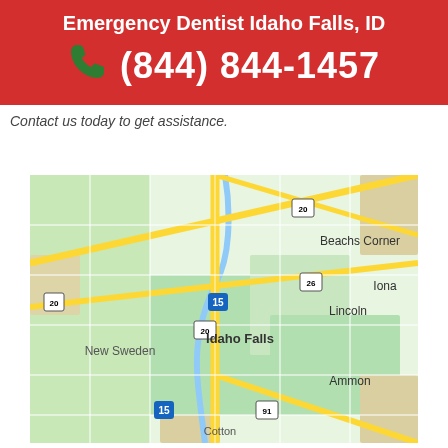Emergency Dentist Idaho Falls, ID
(844) 844-1457
Contact us today to get assistance.
[Figure (map): Google Maps view of Idaho Falls, ID area showing Interstate 15, US-20, US-26, US-91 highways and surrounding communities including Beachs Corner, Iona, Lincoln, New Sweden, Ammon, Cotton]